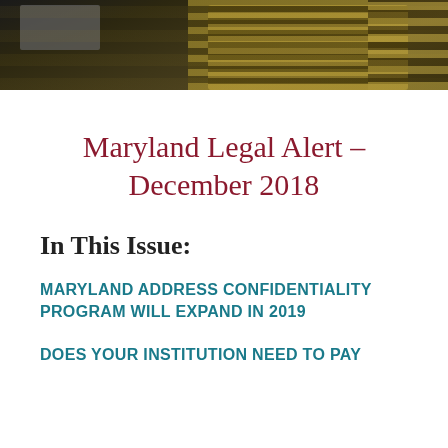[Figure (photo): Stacked gold coins photograph used as banner image at the top of the page, dark background with coin stacks visible on the right side]
Maryland Legal Alert – December 2018
In This Issue:
MARYLAND ADDRESS CONFIDENTIALITY PROGRAM WILL EXPAND IN 2019
DOES YOUR INSTITUTION NEED TO PAY